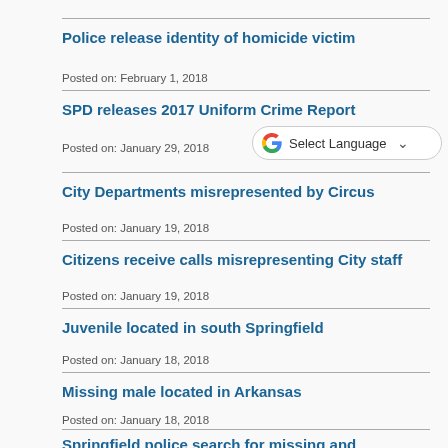Police release identity of homicide victim
Posted on: February 1, 2018
SPD releases 2017 Uniform Crime Report
Posted on: January 29, 2018
[Figure (screenshot): Google Translate 'Select Language' dropdown widget]
City Departments misrepresented by Circus
Posted on: January 19, 2018
Citizens receive calls misrepresenting City staff
Posted on: January 19, 2018
Juvenile located in south Springfield
Posted on: January 18, 2018
Missing male located in Arkansas
Posted on: January 18, 2018
Springfield police search for missing and